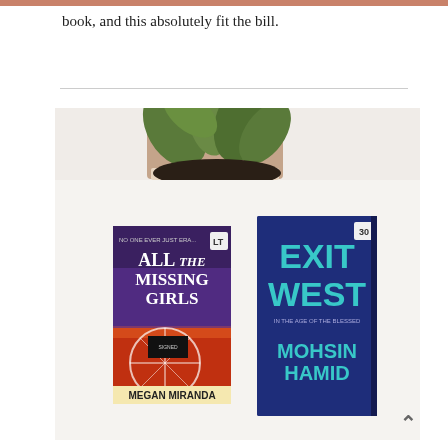book, and this absolutely fit the bill.
[Figure (photo): Photo of two books laid flat on a white surface next to a succulent plant in a pot. Left book: 'All the Missing Girls' by Megan Miranda with a ferris wheel and sunset cover. Right book: 'Exit West' by Mohsin Hamid with a blue typographic cover.]